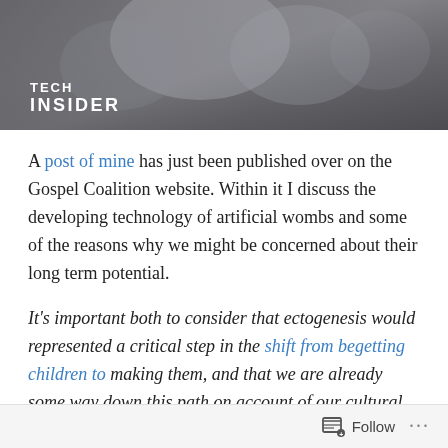[Figure (photo): Hero image with blurred figures/silhouettes in grey tones, with TECH INSIDER logo overlaid at bottom left]
A post of mine has just been published over on the Gospel Coalition website. Within it I discuss the developing technology of artificial wombs and some of the reasons why we might be concerned about their long term potential.
It's important both to consider that ectogenesis would represented a critical step in the shift from begetting children to making them, and that we are already some way down this path on account of our cultural acceptance and normalization of contraception, abortion, IVF, and same-sex marriage. With each step, the associated logic
Follow ...